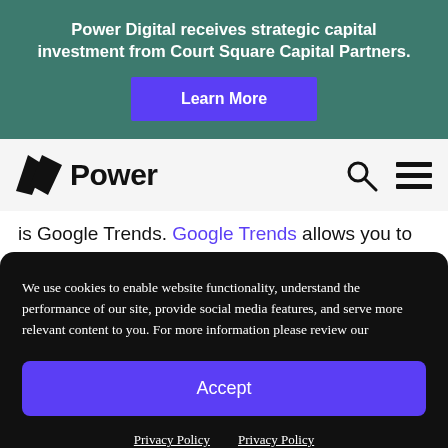Power Digital receives strategic capital investment from Court Square Capital Partners.
[Figure (other): Learn More button — purple rectangle with white text]
[Figure (logo): Power Digital logo — black angular flag icon with the word Power in bold]
[Figure (other): Search (magnifying glass) and hamburger menu icons in the navbar]
is Google Trends. Google Trends allows you to
We use cookies to enable website functionality, understand the performance of our site, provide social media features, and serve more relevant content to you. For more information please review our
[Figure (other): Accept button — purple rounded rectangle with white text]
Privacy Policy  Privacy Policy